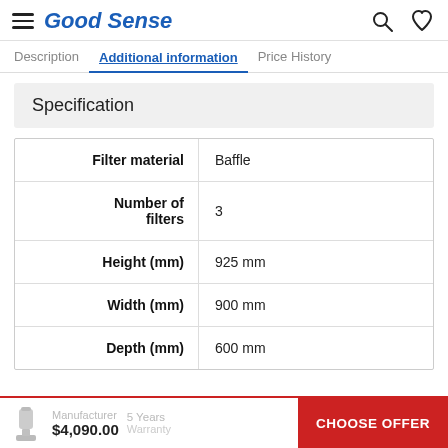Good Sense
Description  Additional information  Price History
Specification
|  |  |
| --- | --- |
| Filter material | Baffle |
| Number of filters | 3 |
| Height (mm) | 925 mm |
| Width (mm) | 900 mm |
| Depth (mm) | 600 mm |
Manufacturer  5 Years  $4,090.00  CHOOSE OFFER